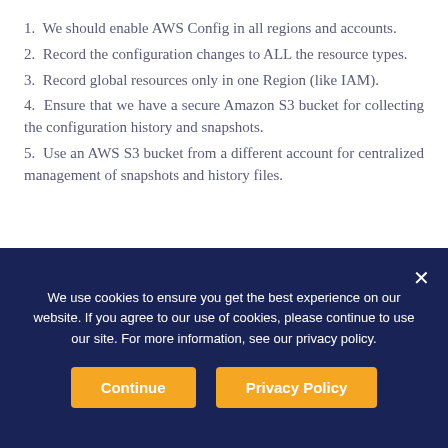1.  We should enable AWS Config in all regions and accounts.
2.  Record the configuration changes to ALL the resource types.
3.  Record global resources only in one Region (like IAM).
4.  Ensure that we have a secure Amazon S3 bucket for collecting the configuration history and snapshots.
5.  Use an AWS S3 bucket from a different account for centralized management of snapshots and history files.
We use cookies to ensure you get the best experience on our website. If you agree to our use of cookies, please continue to use our site. For more information, see our privacy policy.